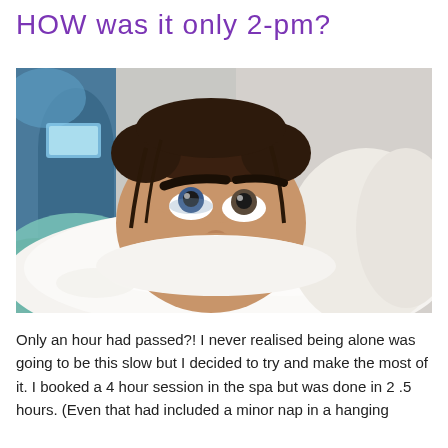HOW was it only 2-pm?
[Figure (photo): A woman lying down with her face peeking above a fluffy white blanket or towel, looking upward with a tired or bored expression. She has dark hair pulled back and is in what appears to be a spa setting with blue/teal and white surroundings.]
Only an hour had passed?! I never realised being alone was going to be this slow but I decided to try and make the most of it. I booked a 4 hour session in the spa but was done in 2 .5 hours. (Even that had included a minor nap in a hanging